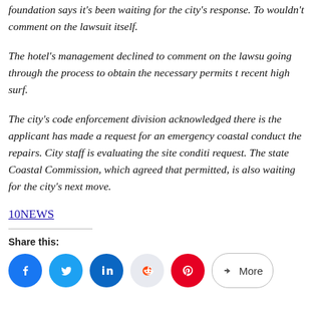foundation says it's been waiting for the city's response. To wouldn't comment on the lawsuit itself.
The hotel's management declined to comment on the lawsuit, going through the process to obtain the necessary permits to recent high surf.
The city's code enforcement division acknowledged there is the applicant has made a request for an emergency coastal conduct the repairs. City staff is evaluating the site conditions request. The state Coastal Commission, which agreed that permitted, is also waiting for the city's next move.
10NEWS
Share this: